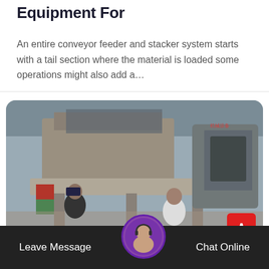Equipment For
An entire conveyor feeder and stacker system starts with a tail section where the material is loaded some operations might also add a…
[Figure (photo): Industrial machinery photo showing a large conveyor feeder and stacker system inside a warehouse/factory setting. Two workers visible near the base of the equipment.]
Leave Message  Chat Online